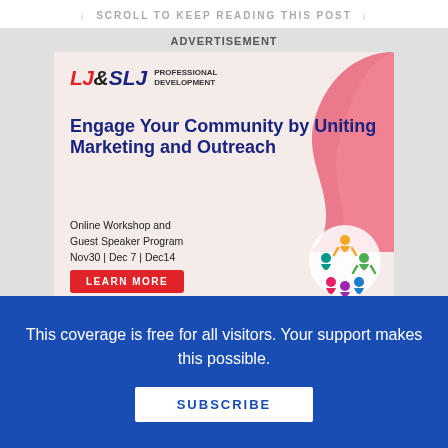↓ SCROLL TO KEEP READING THIS POST ↓
[Figure (infographic): LJ&SLJ Professional Development advertisement. Headline: Engage Your Community by Uniting Marketing and Outreach. Online Workshop and Guest Speaker Program Nov30 | Dec 7 | Dec14. LEARN MORE button. Colorful people/community icon bottom right. Pink wave design element top right.]
This coverage is free for all visitors. Your support makes this possible.
SUBSCRIBE